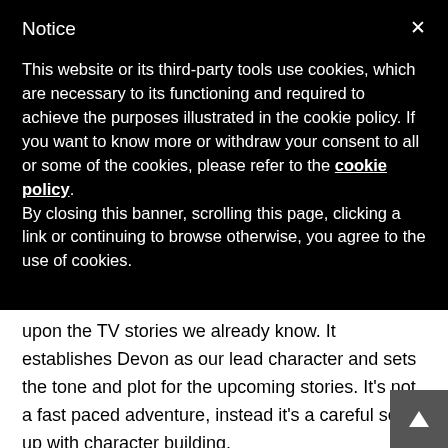Notice
This website or its third-party tools use cookies, which are necessary to its functioning and required to achieve the purposes illustrated in the cookie policy. If you want to know more or withdraw your consent to all or some of the cookies, please refer to the cookie policy. By closing this banner, scrolling this page, clicking a link or continuing to browse otherwise, you agree to the use of cookies.
upon the TV stories we already know. It establishes Devon as our lead character and sets the tone and plot for the upcoming stories. It's not a fast paced adventure, instead it's a careful set up with character building.
Death in the Forest
The second story is written by Roland Moore and we start to